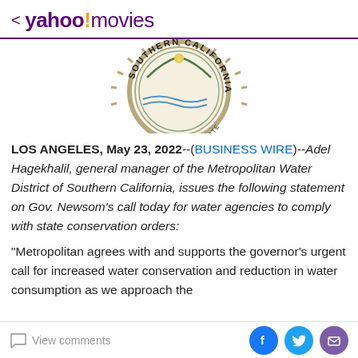< yahoo!movies
[Figure (logo): Seal of the Metropolitan Water District of Southern California — circular badge with text 'SOUTHERN CALIFORNIA' around the top and decorative elements in the center]
LOS ANGELES, May 23, 2022--(BUSINESS WIRE)--Adel Hagekhalil, general manager of the Metropolitan Water District of Southern California, issues the following statement on Gov. Newsom's call today for water agencies to comply with state conservation orders:
"Metropolitan agrees with and supports the governor's urgent call for increased water conservation and reduction in water consumption as we approach the
View comments